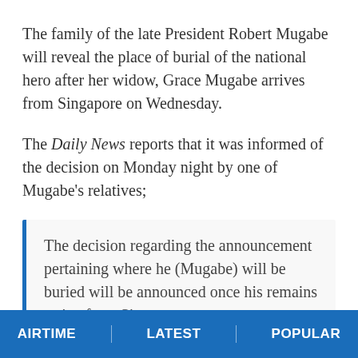The family of the late President Robert Mugabe will reveal the place of burial of the national hero after her widow, Grace Mugabe arrives from Singapore on Wednesday.
The Daily News reports that it was informed of the decision on Monday night by one of Mugabe's relatives;
The decision regarding the announcement pertaining where he (Mugabe) will be buried will be announced once his remains arrive from Singapore.
AIRTIME | LATEST | POPULAR